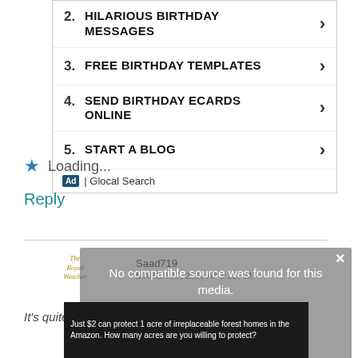2. HILARIOUS BIRTHDAY MESSAGES
3. FREE BIRTHDAY TEMPLATES
4. SEND BIRTHDAY ECARDS ONLINE
5. START A BLOG
Ad | Glocal Search
Loading...
Reply
The Royal Watcher
Saad719
MARCH 27, 2019 AT 3:11 AM
It's quite odd! The House L ms say she should be
[Figure (screenshot): Video player overlay showing 'No compatible source was found for this media.' with a large X close button]
[Figure (screenshot): Ad banner: 'Just $2 can protect 1 acre of irreplaceable forest homes in the Amazon. How many acres are you willing to protect?']